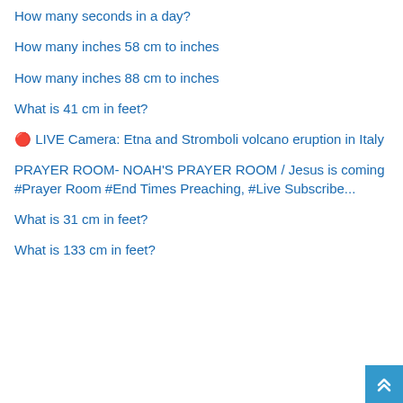How many seconds in a day?
How many inches 58 cm to inches
How many inches 88 cm to inches
What is 41 cm in feet?
🔴 LIVE Camera: Etna and Stromboli volcano eruption in Italy
PRAYER ROOM- NOAH'S PRAYER ROOM / Jesus is coming #Prayer Room #End Times Preaching, #Live Subscribe...
What is 31 cm in feet?
What is 133 cm in feet?